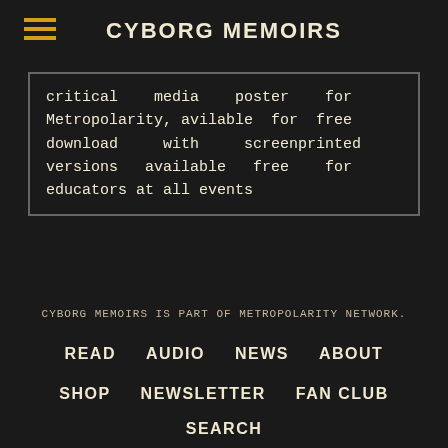CYBORG MEMOIRS
critical media poster for Metropolarity, avilable for free download with screenprinted versions available free for educators at all events
CYBORG MEMOIRS IS PART OF METROPOLARITY NETWORK.
READ
AUDIO
NEWS
ABOUT
SHOP
NEWSLETTER
FAN CLUB
SEARCH